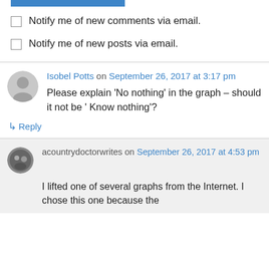[Figure (other): Blue horizontal bar at top of page]
Notify me of new comments via email.
Notify me of new posts via email.
Isobel Potts on September 26, 2017 at 3:17 pm
Please explain ‘No nothing’ in the graph – should it not be ‘ Know nothing’?
↳ Reply
acountrydoctorwrites on September 26, 2017 at 4:53 pm
I lifted one of several graphs from the Internet. I chose this one because the